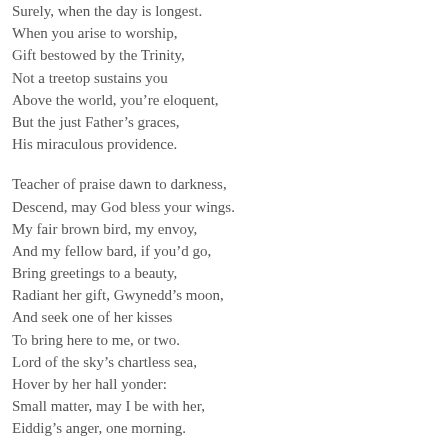Surely, when the day is longest.
When you arise to worship,
Gift bestowed by the Trinity,
Not a treetop sustains you
Above the world, you're eloquent,
But the just Father's graces,
His miraculous providence.

Teacher of praise dawn to darkness,
Descend, may God bless your wings.
My fair brown bird, my envoy,
And my fellow bard, if you'd go,
Bring greetings to a beauty,
Radiant her gift, Gwynedd's moon,
And seek one of her kisses
To bring here to me, or two.
Lord of the sky's chartless sea,
Hover by her hall yonder:
Small matter, may I be with her,
Eiddig's anger, one morning.

For your wretched slaughter the fine,